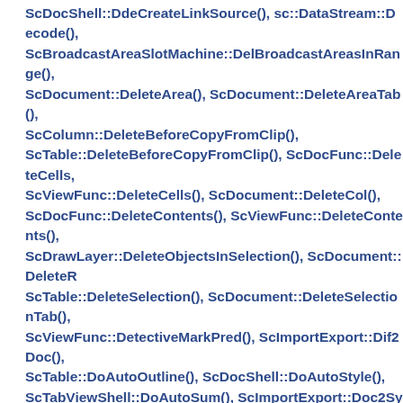ScDocShell::DdeCreateLinkSource(), sc::DataStream::Decode(), ScBroadcastAreaSlotMachine::DelBroadcastAreasInRange(), ScDocument::DeleteArea(), ScDocument::DeleteAreaTab(), ScColumn::DeleteBeforeCopyFromClip(), ScTable::DeleteBeforeCopyFromClip(), ScDocFunc::DeleteCells(), ScViewFunc::DeleteCells(), ScDocument::DeleteCol(), ScDocFunc::DeleteContents(), ScViewFunc::DeleteContents(), ScDrawLayer::DeleteObjectsInSelection(), ScDocument::DeleteR..., ScTable::DeleteSelection(), ScDocument::DeleteSelectionTab(), ScViewFunc::DetectiveMarkPred(), ScImportExport::Dif2Doc(), ScTable::DoAutoOutline(), ScDocShell::DoAutoStyle(), ScTabViewShell::DoAutoSum(), ScImportExport::Doc2Sylk(), ScImportExport::Doc2Text(), ScUndoPaste::DoChange(), ScUndoAutoFilter::DoChange(), ScUndoMerge::DoChange(), ScUndoInsertCells::DoChange(), ScUndoDeleteCells::DoChange(), ScUndoCut::DoChange(), ScUndoDeleteContents::DoChange(), ScUndoFillTable::DoChange(), ScUndoSelectionAttr::DoChange(), ScUndoSelectionStyle::DoChange(), ScUndoDataForm::DoChange(), ScUndoUpdateAreaLink::DoChange(), ScUndoRefConversion::DoChange(), ScTabView::DoChartSelect...